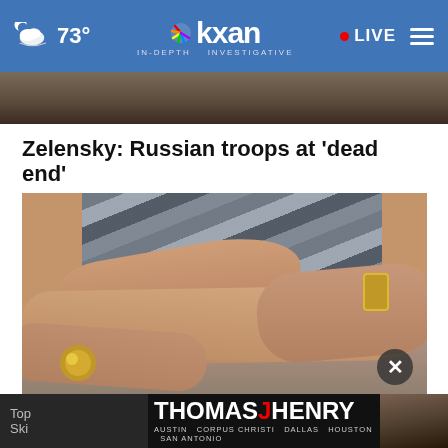☁ 73° | kxan IN-DEPTH INVESTIGATIVE | • LIVE
[Figure (photo): Partial photo strip at top of page, dark tones]
Zelensky: Russian troops at 'dead end'
[Figure (photo): Close-up photograph of elderly person's crossed arms resting on a surface, wearing a striped shirt and bracelet]
Top | Ski
[Figure (photo): Thomas J Henry law firm advertisement banner with logo and text: AUSTIN CORPUS CHRISTI DALLAS HOUSTON SAN ANTONIO]